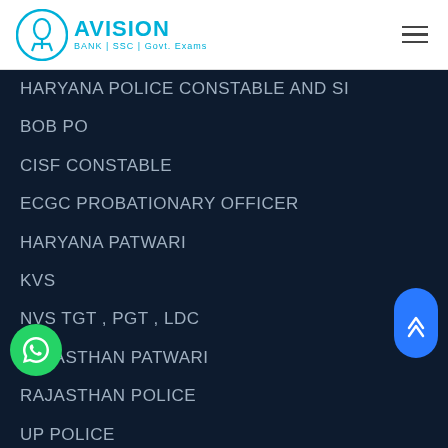Avision BANK | SSC | Govt. Exams
HARYANA POLICE CONSTABLE AND SI
BOB PO
CISF CONSTABLE
ECGC PROBATIONARY OFFICER
HARYANA PATWARI
KVS
NVS TGT , PGT , LDC
RAJASTHAN PATWARI
RAJASTHAN POLICE
UP POLICE
UP TET
...AO
...JRF
OICL
GRAMIN DAK SEVAK